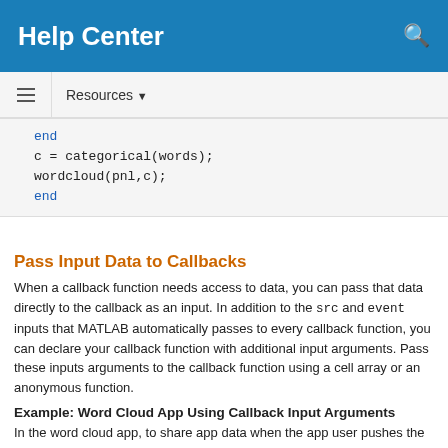Help Center
Resources ▼
Pass Input Data to Callbacks
When a callback function needs access to data, you can pass that data directly to the callback as an input. In addition to the src and event inputs that MATLAB automatically passes to every callback function, you can declare your callback function with additional input arguments. Pass these inputs arguments to the callback function using a cell array or an anonymous function.
Example: Word Cloud App Using Callback Input Arguments
In the word cloud app, to share app data when the app user pushes the button, pass that data to the ButtonPushedFcn callback function.
Define a ButtonPushedFcn callback function named